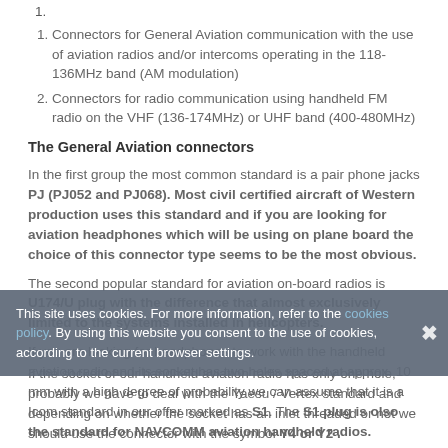Connectors for General Aviation communication with the use of aviation radios and/or intercoms operating in the 118-136MHz band (AM modulation)
Connectors for radio communication using handheld FM radio on the VHF (136-174MHz) or UHF band (400-480MHz)
The General Aviation connectors
In the first group the most common standard is a pair phone jacks PJ (PJ052 and PJ068). Most civil certified aircraft of Western production uses this standard and if you are looking for aviation headphones which will be using on plane board the choice of this connector type seems to be the most obvious.
The second popular standard for aviation on-board radios is U174/U plug with the difference that almost exclusively limited to the systems installed in helicopters.
If you are looking for headphones to work with the handheld aviation radio and its socket has two holes spaced at approx. 10 mm with a high degree of probability we can assume that it is a Icom standard in our offer marked as S1. The S1 plug is olso the standard for NAVCOMM aviation handheld radios.
If the socket of our handheld aviation radio has only one hole, probably we have to deal with the Yaesu / Vertex standard and depending on whether the socket has an inlet threaded or not we should use the connector with the symbol Y4 or Y2 .
This site uses cookies. For more information, refer to the cookies policy. By using this website you consent to the use of cookies, according to the current browser settings.